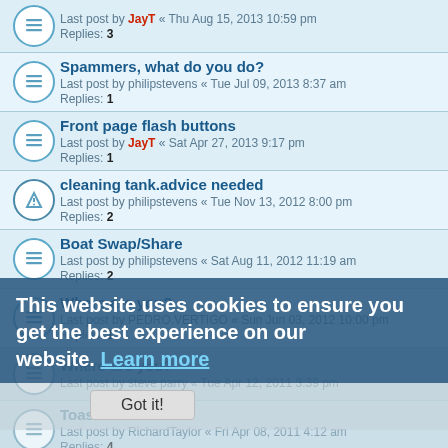Last post by JayT « Thu Aug 15, 2013 10:59 pm
Replies: 3
Spammers, what do you do?
Last post by philipstevens « Tue Jul 09, 2013 8:37 am
Replies: 1
Front page flash buttons
Last post by JayT « Sat Apr 27, 2013 9:17 pm
Replies: 1
cleaning tank.advice needed
Last post by philipstevens « Tue Nov 13, 2012 8:00 pm
Replies: 2
Boat Swap/Share
Last post by philipstevens « Sat Aug 11, 2012 11:19 am
Replies: 2
Where are you?
Last post by PEDRO.VERTIGO « Sun Jun 03, 2012 10:00 pm
Replies: 1
Where are you?
Last post by steve parry « Tue Apr 12, 2011 3:39 pm
Toast II
Last post by RichardTaylor « Fri Apr 08, 2011 4:12 am
Replies: 4
Website sections missing
Last post by JayT « Tue Nov 30, 2010 3:09 pm
Replies: 8
Advanced searches
Last post by JayT « Thu Aug 19, 2010 12:27 pm
This website uses cookies to ensure you get the best experience on our website. Learn more
Got it!